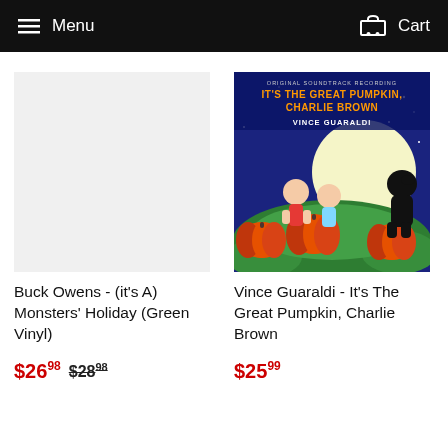Menu  Cart
[Figure (photo): Blank placeholder area where Buck Owens album art would appear (not shown in original)]
[Figure (photo): Album cover for It's the Great Pumpkin, Charlie Brown by Vince Guaraldi — dark blue night sky with full moon, Linus, Sally, and Snoopy silhouette among orange pumpkins. Text: ORIGINAL SOUNDTRACK RECORDING / IT'S THE GREAT PUMPKIN, CHARLIE BROWN / VINCE GUARALDI]
Buck Owens - (it's A) Monsters' Holiday (Green Vinyl)
Vince Guaraldi - It's The Great Pumpkin, Charlie Brown
$26.98  $28.98
$25.99